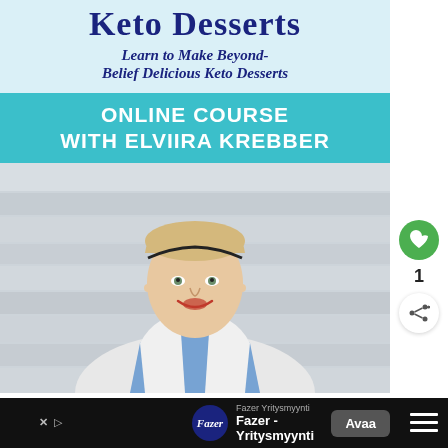Keto Desserts
Learn to Make Beyond-Belief Delicious Keto Desserts
ONLINE COURSE with ELVIIRA KREBBER
[Figure (photo): Smiling blonde woman wearing a blue apron over white cardigan, standing in front of a white wooden background]
[Figure (infographic): Advertisement bar: Fazer Yritysmyynti logo and text with Avaa (Open) button on black background]